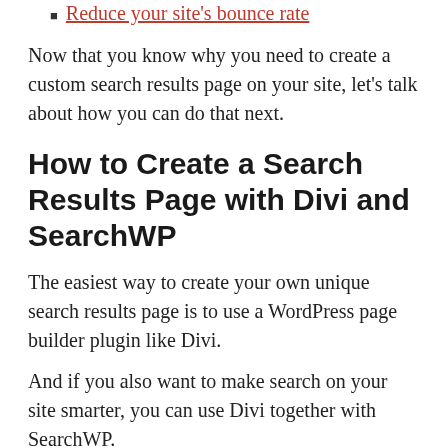Reduce your site's bounce rate
Now that you know why you need to create a custom search results page on your site, let's talk about how you can do that next.
How to Create a Search Results Page with Divi and SearchWP
The easiest way to create your own unique search results page is to use a WordPress page builder plugin like Divi.
And if you also want to make search on your site smarter, you can use Divi together with SearchWP.